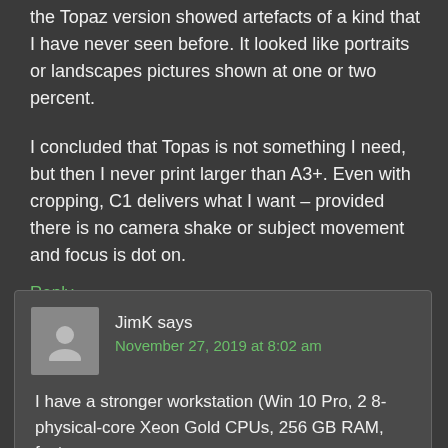the Topaz version showed artefacts of a kind that I have never seen before. It looked like portraits or landscapes pictures shown at one or two percent.
I concluded that Topas is not something I need, but then I never print larger than A3+. Even with cropping, C1 delivers what I want – provided there is no camera shake or subject movement and focus is dot on.
Reply
JimK says
November 27, 2019 at 8:02 am
I have a stronger workstation (Win 10 Pro, 2 8-physical-core Xeon Gold CPUs, 256 GB RAM, fast